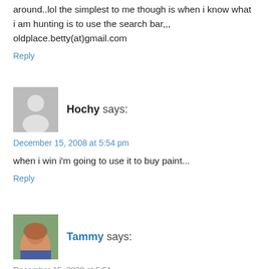around..lol the simplest to me though is when i know what i am hunting is to use the search bar,,, oldplace.betty(at)gmail.com
Reply
Hochy says:
December 15, 2008 at 5:54 pm
when i win i'm going to use it to buy paint...
Reply
Tammy says:
December 15, 2008 at 5:51